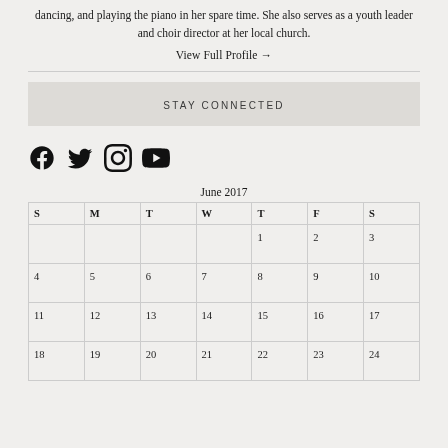dancing, and playing the piano in her spare time. She also serves as a youth leader and choir director at her local church.
View Full Profile →
STAY CONNECTED
[Figure (other): Social media icons: Facebook, Twitter, Instagram, YouTube]
June 2017
| S | M | T | W | T | F | S |
| --- | --- | --- | --- | --- | --- | --- |
|  |  |  |  | 1 | 2 | 3 |
| 4 | 5 | 6 | 7 | 8 | 9 | 10 |
| 11 | 12 | 13 | 14 | 15 | 16 | 17 |
| 18 | 19 | 20 | 21 | 22 | 23 | 24 |